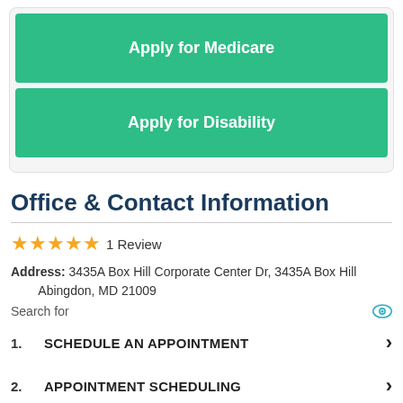Apply for Medicare
Apply for Disability
Office & Contact Information
★★★★★ 1 Review
Address: 3435A Box Hill Corporate Center Dr, 3435A Box Hill Abingdon, MD 21009
Search for
1. SCHEDULE AN APPOINTMENT
2. APPOINTMENT SCHEDULING